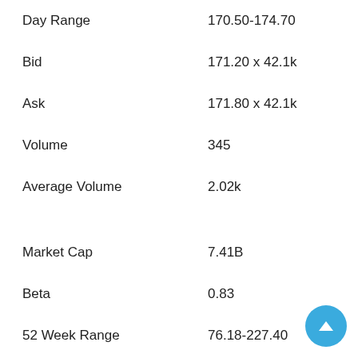| Label | Value |
| --- | --- |
| Day Range | 170.50-174.70 |
| Bid | 171.20 x 42.1k |
| Ask | 171.80 x 42.1k |
| Volume | 345 |
| Average Volume | 2.02k |
| Market Cap | 7.41B |
| Beta | 0.83 |
| 52 Week Range | 76.18-227.40 |
| Trailing P/E | 19.35 |
| Foward P/E | 24.64 |
| Dividend (Yield %) | 1.95% |